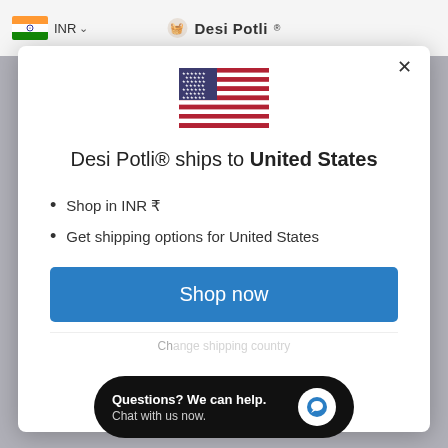INR | Desi Potli
[Figure (screenshot): Modal dialog showing US flag and shipping information for Desi Potli store]
Desi Potli® ships to United States
Shop in INR ₹
Get shipping options for United States
Shop now
Questions? We can help. Chat with us now.